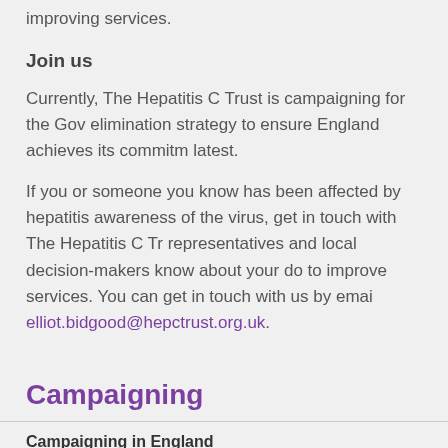improving services.
Join us
Currently, The Hepatitis C Trust is campaigning for the Gov elimination strategy to ensure England achieves its commitm latest.
If you or someone you know has been affected by hepatitis awareness of the virus, get in touch with The Hepatitis C Tr representatives and local decision-makers know about your do to improve services. You can get in touch with us by emai elliot.bidgood@hepctrust.org.uk.
Campaigning
Campaigning in England
Policy and Parliamentary
Campaigning in Scotland